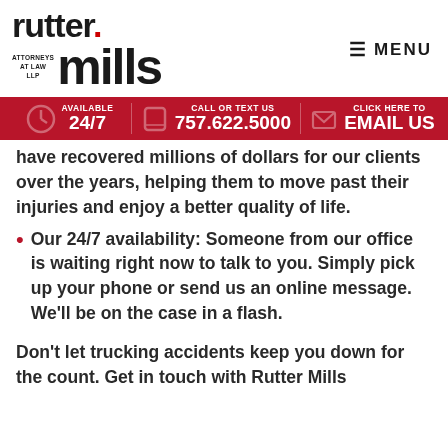[Figure (logo): Rutter Mills Attorneys at Law LLP logo with red accent dot]
MENU
[Figure (infographic): Red banner: AVAILABLE 24/7 | CALL OR TEXT US 757.622.5000 | CLICK HERE TO EMAIL US]
have recovered millions of dollars for our clients over the years, helping them to move past their injuries and enjoy a better quality of life.
Our 24/7 availability: Someone from our office is waiting right now to talk to you. Simply pick up your phone or send us an online message. We'll be on the case in a flash.
Don't let trucking accidents keep you down for the count. Get in touch with Rutter Mills